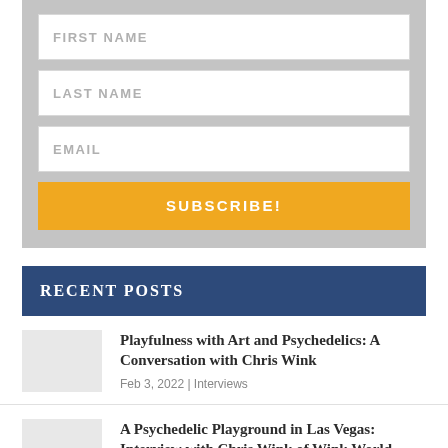[Figure (screenshot): Web form with FIRST NAME, LAST NAME, EMAIL fields and SUBSCRIBE! button on gray background]
RECENT POSTS
Playfulness with Art and Psychedelics: A Conversation with Chris Wink | Feb 3, 2022 | Interviews
A Psychedelic Playground in Las Vegas: Interview with Chris Wink of Wink World | Jan 31, 2022 | Interviews